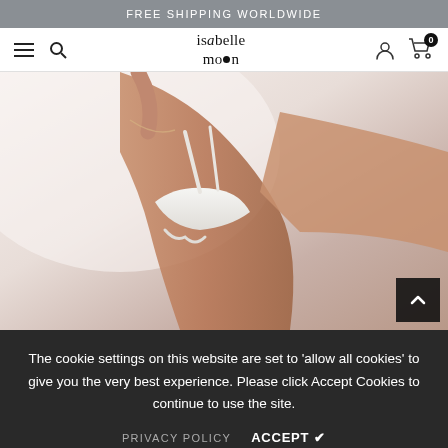FREE SHIPPING WORLDWIDE
[Figure (screenshot): Website navigation bar with hamburger menu, search icon, 'isabelle moon' logo, user account icon, and shopping cart with 0 items]
[Figure (photo): Side profile of a woman wearing a white strappy bralette/bra against a light background]
The cookie settings on this website are set to 'allow all cookies' to give you the very best experience. Please click Accept Cookies to continue to use the site.
PRIVACY POLICY   ACCEPT ✔